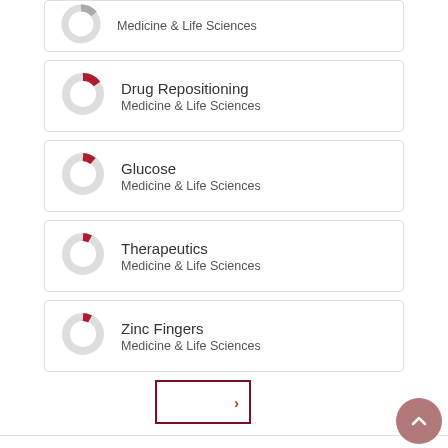Medicine & Life Sciences
Drug Repositioning
Medicine & Life Sciences
Glucose
Medicine & Life Sciences
Therapeutics
Medicine & Life Sciences
Zinc Fingers
Medicine & Life Sciences
[Figure (other): Pagination next button with right chevron arrow, bordered in dark red]
[Figure (other): Scroll-to-top circular button with upward chevron arrow in pink/rose color]